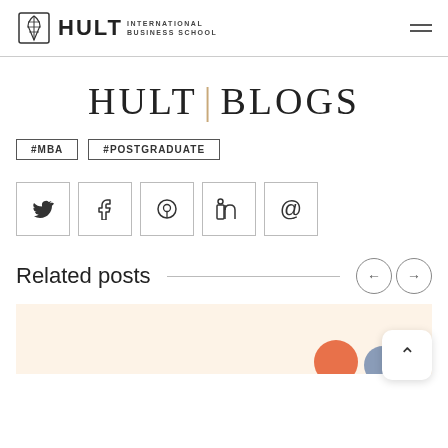[Figure (logo): Hult International Business School logo with wheat/leaf emblem and wordmark]
HULT | BLOGS
#MBA  #POSTGRADUATE
[Figure (infographic): Social sharing icons: Twitter, Facebook, Pinterest, LinkedIn, Email]
Related posts
[Figure (illustration): Related post card with warm beige background and orange and gray circular decorations]